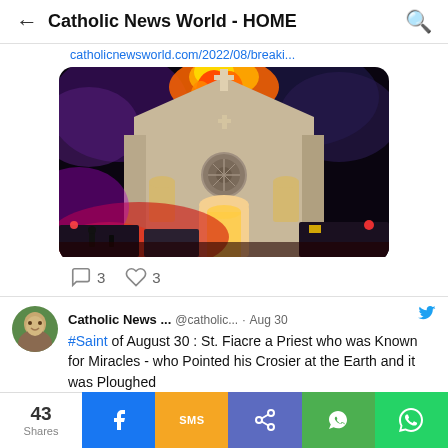Catholic News World - HOME
catholicnewsworld.com/2022/08/breaki...
[Figure (photo): Church building on fire at night with red and purple lights, fire trucks visible in background, smoke and flames above the Gothic-style church facade with cross on top]
3  3
Catholic News ... @catholic... · Aug 30
#Saint of August 30 : St. Fiacre a Priest who was Known for Miracles - who Pointed his Crosier at the Earth and it was Ploughed
43 Shares  f  SMS  share  WeChat  WhatsApp